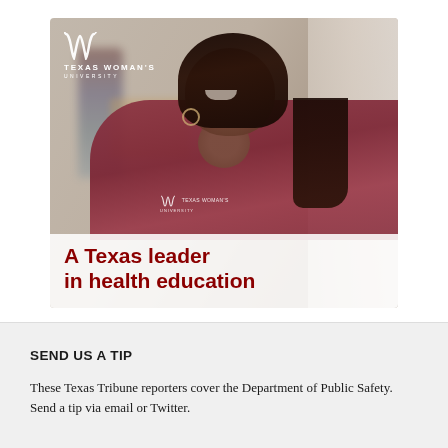[Figure (photo): Texas Woman's University advertisement featuring a smiling Black female student wearing a maroon TWU t-shirt in a campus building, with another student blurred in the background. The TWU logo (stylized W with longhorns) and 'TEXAS WOMAN'S UNIVERSITY' text appear in the upper left in white. Bold maroon text at the bottom reads 'A Texas leader in health education'.]
SEND US A TIP
These Texas Tribune reporters cover the Department of Public Safety. Send a tip via email or Twitter.